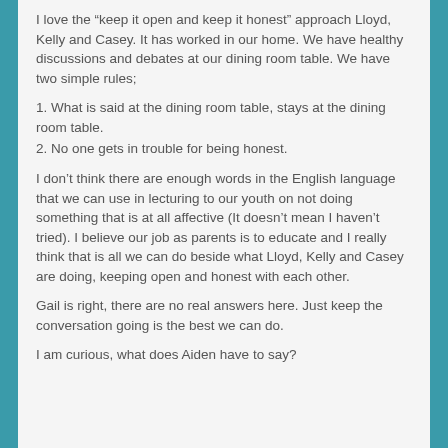I love the “keep it open and keep it honest” approach Lloyd, Kelly and Casey. It has worked in our home. We have healthy discussions and debates at our dining room table. We have two simple rules;
1. What is said at the dining room table, stays at the dining room table.
2. No one gets in trouble for being honest.
I don’t think there are enough words in the English language that we can use in lecturing to our youth on not doing something that is at all affective (It doesn’t mean I haven’t tried). I believe our job as parents is to educate and I really think that is all we can do beside what Lloyd, Kelly and Casey are doing, keeping open and honest with each other.
Gail is right, there are no real answers here. Just keep the conversation going is the best we can do.
I am curious, what does Aiden have to say?